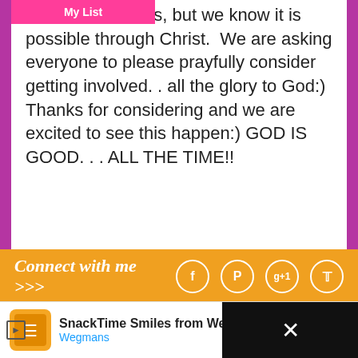we cannot do this, but we know it is possible through Christ. We are asking everyone to please prayfully consider getting involved. . all the glory to God:) Thanks for considering and we are excited to see this happen:) GOD IS GOOD. . . ALL THE TIME!!
[Figure (screenshot): Social share buttons row with counts (14, 0, 0, 0, 0) and Share, Tweet, Pin, Google+, Email buttons]
[Figure (illustration): Pink heart and cursive Joni signature in pink]
This post may contain affiliate links. Read my complete Disclosure Policy Here
Filed Under: FREE Laundromat Project, Outreach Opportunities
[Figure (infographic): Orange Connect with me >>> bar with social icons for Facebook, Pinterest, Google+, Twitter]
[Figure (screenshot): Ad banner: SnackTime Smiles from Wegmans advertisement with Wegmans logo and navigation arrow]